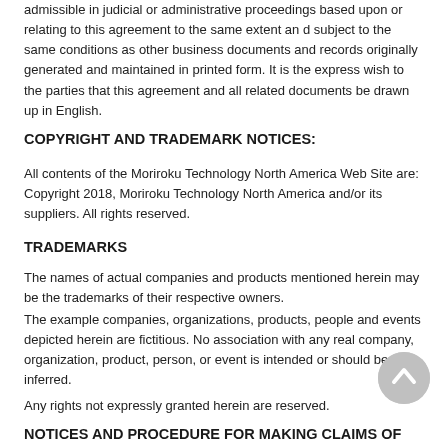admissible in judicial or administrative proceedings based upon or relating to this agreement to the same extent an d subject to the same conditions as other business documents and records originally generated and maintained in printed form. It is the express wish to the parties that this agreement and all related documents be drawn up in English.
COPYRIGHT AND TRADEMARK NOTICES:
All contents of the Moriroku Technology North America Web Site are: Copyright 2018, Moriroku Technology North America and/or its suppliers. All rights reserved.
TRADEMARKS
The names of actual companies and products mentioned herein may be the trademarks of their respective owners.
The example companies, organizations, products, people and events depicted herein are fictitious. No association with any real company, organization, product, person, or event is intended or should be inferred.
Any rights not expressly granted herein are reserved.
NOTICES AND PROCEDURE FOR MAKING CLAIMS OF COPYRIGHT INFRINGEMENT